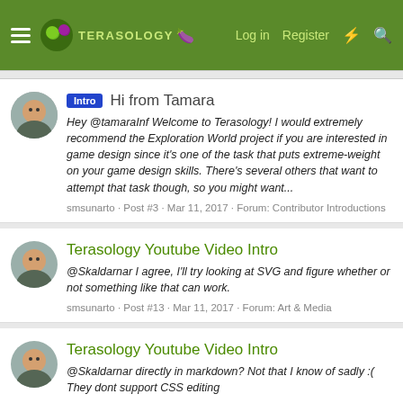Terasology — Log in  Register
Intro  Hi from Tamara
Hey @tamaraInf Welcome to Terasology! I would extremely recommend the Exploration World project if you are interested in game design since it's one of the task that puts extreme-weight on your game design skills. There's several others that want to attempt that task though, so you might want...
smsunarto · Post #3 · Mar 11, 2017 · Forum: Contributor Introductions
Terasology Youtube Video Intro
@Skaldarnar I agree, I'll try looking at SVG and figure whether or not something like that can work.
smsunarto · Post #13 · Mar 11, 2017 · Forum: Art & Media
Terasology Youtube Video Intro
@Skaldarnar directly in markdown? Not that I know of sadly :( They dont support CSS editing
smsunarto · Post #11 · Mar 9, 2017 · Forum: Art & Media